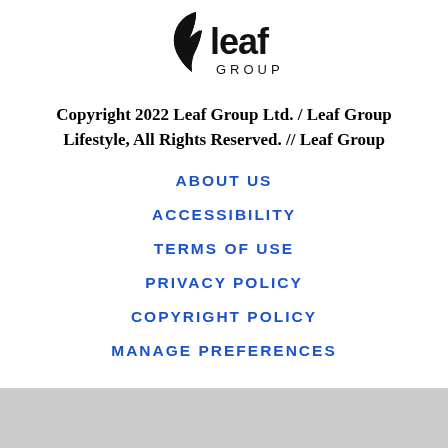[Figure (logo): Leaf Group logo — black leaf icon with 'leaf GROUP' text]
Copyright 2022 Leaf Group Ltd. / Leaf Group Lifestyle, All Rights Reserved. // Leaf Group
ABOUT US
ACCESSIBILITY
TERMS OF USE
PRIVACY POLICY
COPYRIGHT POLICY
MANAGE PREFERENCES